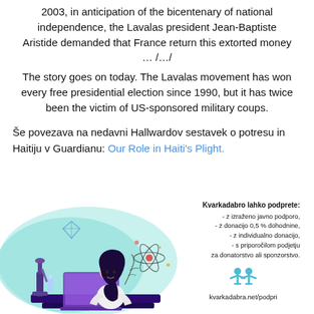2003, in anticipation of the bicentenary of national independence, the Lavalas president Jean-Baptiste Aristide demanded that France return this extorted money … /…/
The story goes on today. The Lavalas movement has won every free presidential election since 1990, but it has twice been the victim of US-sponsored military coups.
Še povezava na nedavni Hallwardov sestavek o potresu in Haitiju v Guardianu: Our Role in Haiti's Plight.
[Figure (illustration): Illustration of a woman scientist in a lab coat working at a laptop with a microscope and atomic model, set against a teal aqua background blob]
Kvarkadabro lahko podprete: - z izraženo javno podporo, - z donacijo 0,5 % dohodnine, - z individualno donacijo, - s priporočilom podjetju za donatorstvo ali sponzorstvo. kvarkadabra.net/podpri